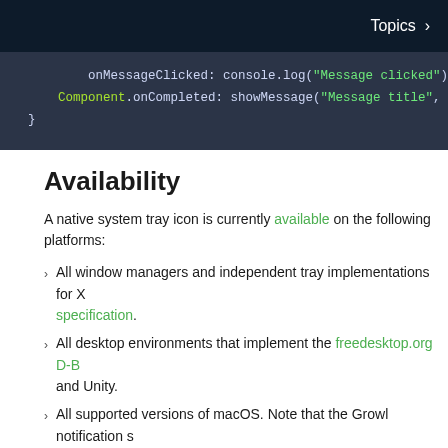Topics >
[Figure (screenshot): Code block showing QML code with onMessageClicked and Component.onCompleted handlers on dark background]
Availability
A native system tray icon is currently available on the following platforms:
All window managers and independent tray implementations for X that support the freedesktop.org System Tray specification.
All desktop environments that implement the freedesktop.org D-B... and Unity.
All supported versions of macOS. Note that the Growl notification s... OS X prior to 10.8 (Mountain Lion).
The Qt Labs Platform module uses Qt Widgets as a fallback on platforms t... applications that use types from the Qt Labs Platform module should link...
To link against the QtWidgets library, add the following to your qmake pro...